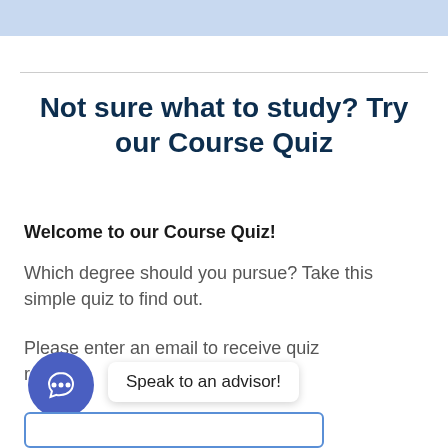Not sure what to study? Try our Course Quiz
Welcome to our Course Quiz!
Which degree should you pursue? Take this simple quiz to find out.
Please enter an email to receive quiz results.
Speak to an advisor!